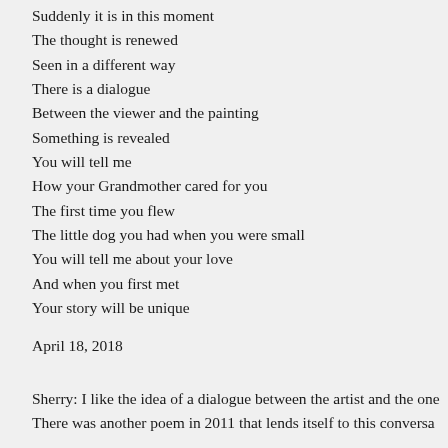Suddenly it is in this moment
The thought is renewed
Seen in a different way
There is a dialogue
Between the viewer and the painting
Something is revealed
You will tell me
How your Grandmother cared for you
The first time you flew
The little dog you had when you were small
You will tell me about your love
And when you first met
Your story will be unique
April 18, 2018
Sherry: I like the idea of a dialogue between the artist and the one
There was another poem in 2011 that lends itself to this conversa